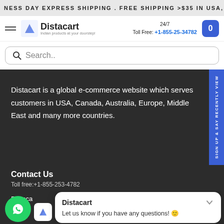NESS DAY EXPRESS SHIPPING . FREE SHIPPING >$35 IN USA,
[Figure (logo): Distacart logo with icon and tagline 'Indian products at your doorstep!']
24/7 Toll Free: +1-855-25-34782
Search..
Distacart is a global e-commerce website which serves customers in USA, Canada, Australia, Europe, Middle East and many more countries.
sign up & say RECENTLY VIEW
Contact Us
Toll free:+1-855-253-4782
Distacart
Distacart
Let us know if you have any questions! 😊